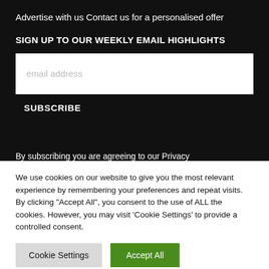Advertise with us Contact us for a personalised offer
SIGN UP TO OUR WEEKLY EMAIL HIGHLIGHTS
email address
SUBSCRIBE
By subscribing you are agreeing to our Privacy
We use cookies on our website to give you the most relevant experience by remembering your preferences and repeat visits. By clicking "Accept All", you consent to the use of ALL the cookies. However, you may visit 'Cookie Settings' to provide a controlled consent.
Cookie Settings
Accept All